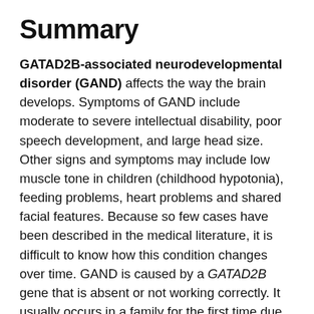Summary
GATAD2B-associated neurodevelopmental disorder (GAND) affects the way the brain develops. Symptoms of GAND include moderate to severe intellectual disability, poor speech development, and large head size. Other signs and symptoms may include low muscle tone in children (childhood hypotonia), feeding problems, heart problems and shared facial features. Because so few cases have been described in the medical literature, it is difficult to know how this condition changes over time. GAND is caused by a GATAD2B gene that is absent or not working correctly. It usually occurs in a family for the first time due to a new genetic change (de novo) and may be inherited in an autosomal dominant pattern. GAND is diagnosed based on the symptoms, a clinical exam and genetic testing.